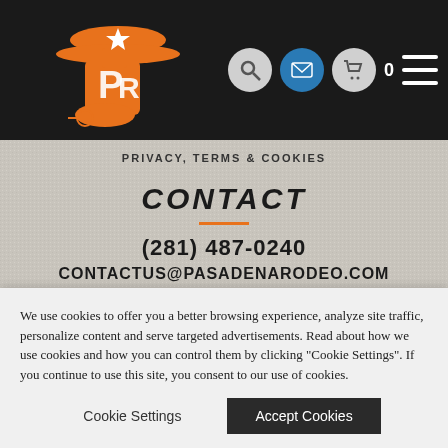[Figure (logo): Pasadena Rodeo orange cowboy boot with star logo]
[Figure (infographic): Navigation icons: search (magnifier), mail (envelope), cart (shopping cart with 0 count), hamburger menu]
PRIVACY, TERMS & COOKIES
CONTACT
(281) 487-0240
CONTACTUS@PASADENARODEO.COM
SOCIAL
[Figure (infographic): Two dark circular social media icons (Facebook and another)]
We use cookies to offer you a better browsing experience, analyze site traffic, personalize content and serve targeted advertisements. Read about how we use cookies and how you can control them by clicking "Cookie Settings". If you continue to use this site, you consent to our use of cookies.
Cookie Settings
Accept Cookies